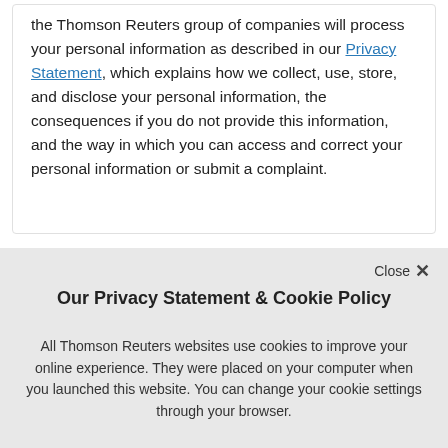the Thomson Reuters group of companies will process your personal information as described in our Privacy Statement, which explains how we collect, use, store, and disclose your personal information, the consequences if you do not provide this information, and the way in which you can access and correct your personal information or submit a complaint.
Our Privacy Statement & Cookie Policy
All Thomson Reuters websites use cookies to improve your online experience. They were placed on your computer when you launched this website. You can change your cookie settings through your browser.